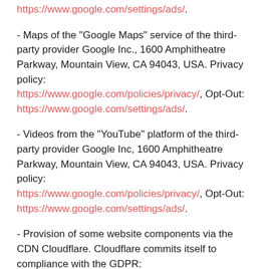https://www.google.com/settings/ads/.
- Maps of the "Google Maps" service of the third-party provider Google Inc., 1600 Amphitheatre Parkway, Mountain View, CA 94043, USA. Privacy policy: https://www.google.com/policies/privacy/, Opt-Out: https://www.google.com/settings/ads/.
- Videos from the "YouTube" platform of the third-party provider Google Inc, 1600 Amphitheatre Parkway, Mountain View, CA 94043, USA. Privacy policy: https://www.google.com/policies/privacy/, Opt-Out: https://www.google.com/settings/ads/.
- Provision of some website components via the CDN Cloudflare. Cloudflare commits itself to compliance with the GDPR: https://www.cloudflare.com/de-de/gdpr/introduction/
12. user rights and deletion of data